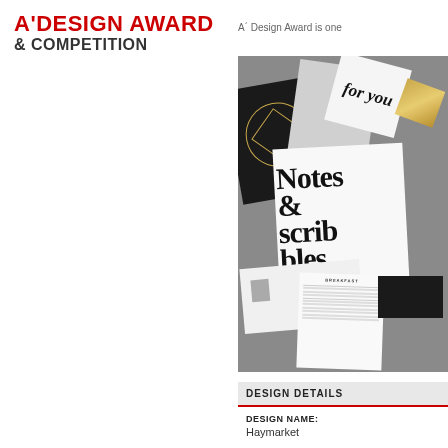[Figure (logo): A' Design Award & Competition logo with red and dark text]
A´ Design Award is one
[Figure (photo): Flatlay photo of branded stationery items on grey background including dark folder with gold emblem, white card reading 'for you', notepad with large serif text 'Notes and scribbles', menu card, luggage tag, and dark business card]
DESIGN DETAILS
DESIGN NAME:
Haymarket